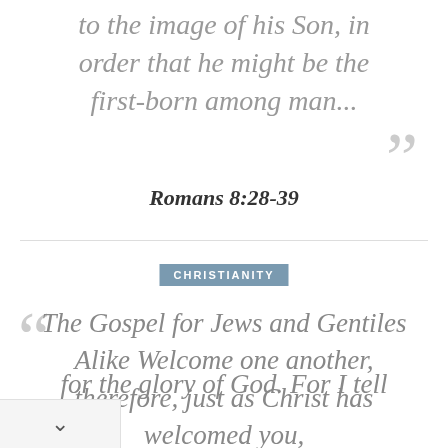to the image of his Son, in order that he might be the first-born among man...
Romans 8:28-39
CHRISTIANITY
The Gospel for Jews and Gentiles Alike Welcome one another, therefore, just as Christ has welcomed you, for the glory of God. For I tell